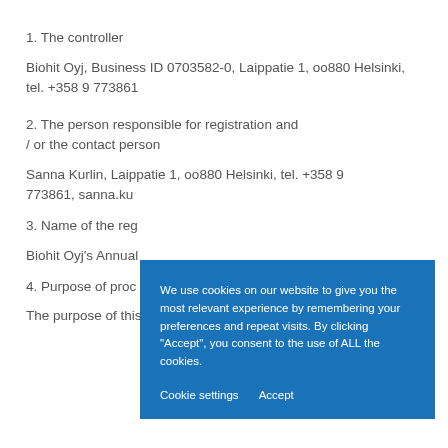1. The controller
Biohit Oyj, Business ID 0703582-0, Laippatie 1, 00880 Helsinki, tel. +358 9 773861
2. The person responsible for registration and / or the contact person
Sanna Kurlin, Laippatie 1, 00880 Helsinki, tel. +358 9 773861, sanna.ku...
3. Name of the reg...
Biohit Oyj's Annual...
4. Purpose of proc...
The purpose of this register is for new registrations of
[Figure (screenshot): Cookie consent overlay on a blue background with text: 'We use cookies on our website to give you the most relevant experience by remembering your preferences and repeat visits. By clicking "Accept", you consent to the use of ALL the cookies.' with two buttons: 'Cookie settings' and 'Accept'.]